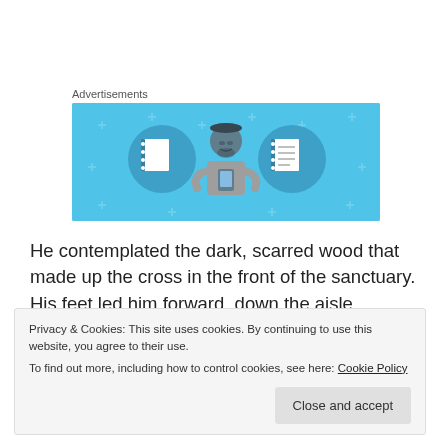Advertisements
[Figure (illustration): Advertisement banner with light blue background showing a cartoon person holding a phone, flanked by two circular icons: a blank notebook on the left and a lined notepad on the right. Small plus/cross decorations scattered in the background.]
He contemplated the dark, scarred wood that made up the cross in the front of the sanctuary. His feet led him forward, down the aisle. Stopping at the second pew, he
Privacy & Cookies: This site uses cookies. By continuing to use this website, you agree to their use.
To find out more, including how to control cookies, see here: Cookie Policy
Close and accept
Swinging open the door, he slowly walked hall in...